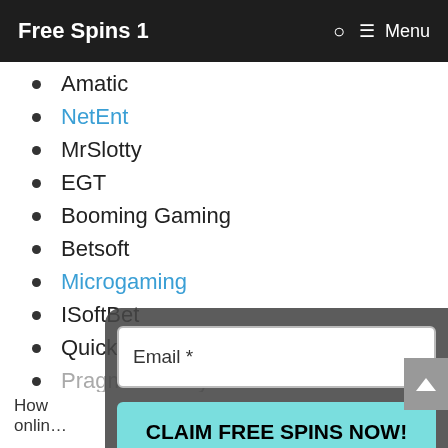Free Spins 1  🔍  ☰ Menu
Amatic
NetEnt
MrSlotty
EGT
Booming Gaming
Betsoft
Microgaming
ISoftBet
Quickspin
Pragmatic Play
[Figure (screenshot): Email signup popup overlay with 'Email *' input field and 'CLAIM FREE SPINS NOW!' button in teal]
How to ... online ... with ...